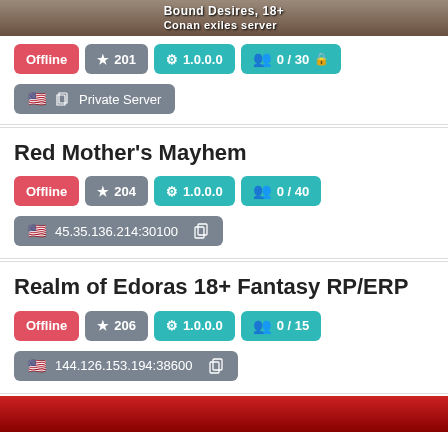[Figure (screenshot): Banner image for 'Bound Desires, 18+ Conan exiles server']
Offline  ★ 201  ⚙ 1.0.0.0  👥 0 / 30 🔒
🇺🇸 Private Server
Red Mother's Mayhem
Offline  ★ 204  ⚙ 1.0.0.0  👥 0 / 40
🇺🇸 45.35.136.214:30100
Realm of Edoras 18+ Fantasy RP/ERP
Offline  ★ 206  ⚙ 1.0.0.0  👥 0 / 15
🇺🇸 144.126.153.194:38600
[Figure (screenshot): Partial banner image at bottom of page]